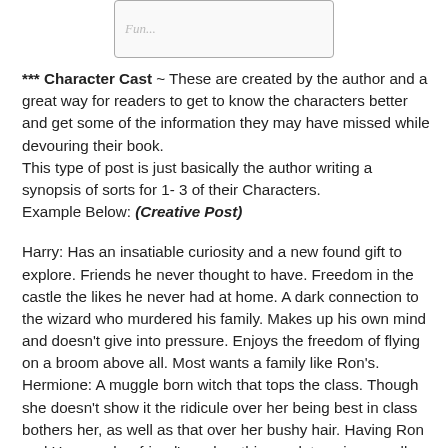[Figure (other): A decorative text input box with the word 'Fun...' written in cursive/italic script inside a rounded rectangle border]
*** Character Cast ~ These are created by the author and a great way for readers to get to know the characters better and get some of the information they may have missed while devouring their book.
This type of post is just basically the author writing a synopsis of sorts for 1- 3 of their Characters.
Example Below: (Creative Post)
Harry: Has an insatiable curiosity and a new found gift to explore. Friends he never thought to have. Freedom in the castle the likes he never had at home. A dark connection to the wizard who murdered his family. Makes up his own mind and doesn't give into pressure. Enjoys the freedom of flying on a broom above all. Most wants a family like Ron's.
Hermione: A muggle born witch that tops the class. Though she doesn't show it the ridicule over her being best in class bothers her, as well as that over her bushy hair. Having Ron and Harry as her friend's makes things a lot easier, usually. She likes to learn new facts and read ahead in classes.